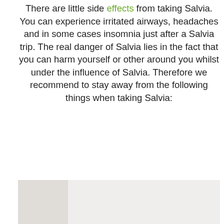There are little side effects from taking Salvia. You can experience irritated airways, headaches and in some cases insomnia just after a Salvia trip. The real danger of Salvia lies in the fact that you can harm yourself or other around you whilst under the influence of Salvia. Therefore we recommend to stay away from the following things when taking Salvia:
[Figure (photo): Partial view of an image at the bottom of the page, mostly obscured]